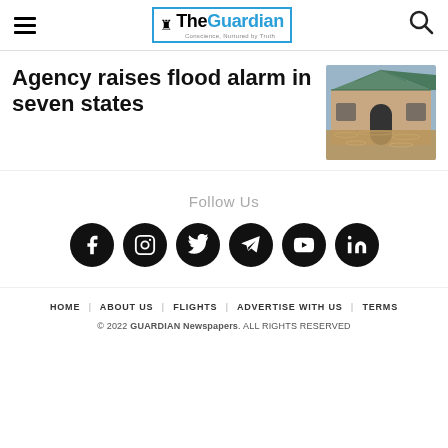The Guardian — Conscience, Nurtured by Truth
Agency raises flood alarm in seven states
[Figure (photo): A flooded building with brown floodwaters surrounding brick structures with a tiled roof]
Follow Us
[Figure (infographic): Social media icons: Facebook, Instagram, Twitter, Telegram, YouTube, LinkedIn]
HOME   ABOUT US   FLIGHTS   ADVERTISE WITH US   TERMS
© 2022 GUARDIAN Newspapers. ALL RIGHTS RESERVED